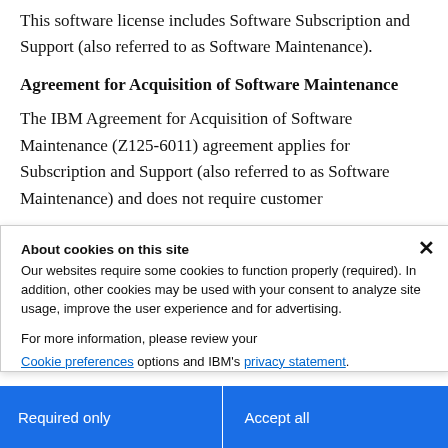This software license includes Software Subscription and Support (also referred to as Software Maintenance).
Agreement for Acquisition of Software Maintenance
The IBM Agreement for Acquisition of Software Maintenance (Z125-6011) agreement applies for Subscription and Support (also referred to as Software Maintenance) and does not require customer
About cookies on this site
Our websites require some cookies to function properly (required). In addition, other cookies may be used with your consent to analyze site usage, improve the user experience and for advertising.
For more information, please review your Cookie preferences options and IBM's privacy statement.
Required only
Accept all